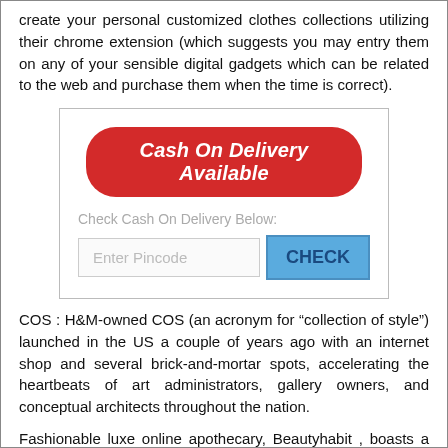create your personal customized clothes collections utilizing their chrome extension (which suggests you may entry them on any of your sensible digital gadgets which can be related to the web and purchase them when the time is correct).
[Figure (screenshot): A UI widget showing a red 'Cash On Delivery Available' button, a 'Check Cash On Delivery Below:' label, an 'Enter Pincode' text input, and a blue 'CHECK' button.]
COS : H&M-owned COS (an acronym for “collection of style”) launched in the US a couple of years ago with an internet shop and several brick-and-mortar spots, accelerating the heartbeats of art administrators, gallery owners, and conceptual architects throughout the nation.
Fashionable luxe online apothecary, Beautyhabit , boasts a $45 “Attempt Before You Buy deal” sets that lets...